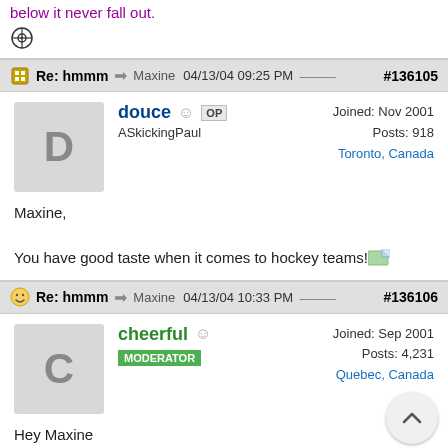below it never fall out.
[Figure (illustration): Soccer ball target/bullseye icon]
Re: hmmm   → Maxine  04/13/04 09:25 PM  #136105
douce  OP
ASkickingPaul
Joined: Nov 2001
Posts: 918
Toronto, Canada
Maxine,

You have good taste when it comes to hockey teams!
Re: hmmm   → Maxine  04/13/04 10:33 PM  #136106
cheerful  MODERATOR
Joined: Sep 2001
Posts: 4,231
Quebec, Canada
Hey Maxine